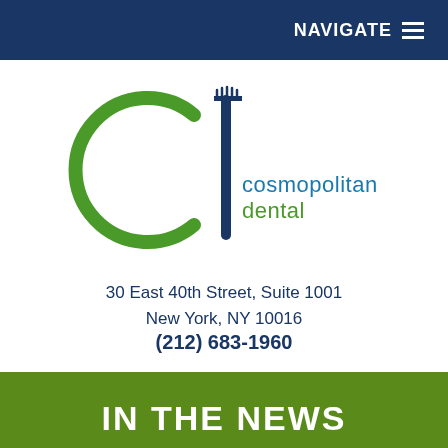NAVIGATE ≡
[Figure (logo): Cosmopolitan Dental logo featuring a green letter C combined with a blue vertical toothbrush forming the letter d, with text 'cosmopolitan dental' in blue and green]
30 East 40th Street, Suite 1001
New York, NY 10016
(212) 683-1960
IN THE NEWS